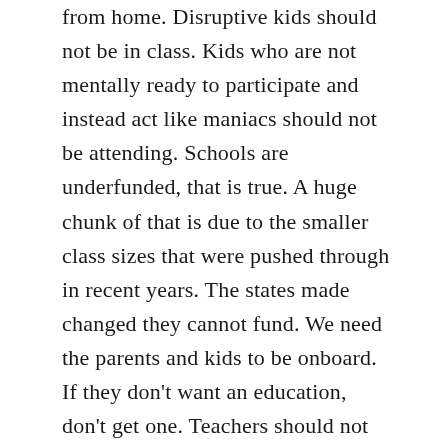from home. Disruptive kids should not be in class. Kids who are not mentally ready to participate and instead act like maniacs should not be attending. Schools are underfunded, that is true. A huge chunk of that is due to the smaller class sizes that were pushed through in recent years. The states made changed they cannot fund. We need the parents and kids to be onboard. If they don't want an education, don't get one. Teachers should not be held liable for kids not wanting to learn. If the classes are recorded and lesson plans are appropriate, then it is on the kid. My daughter is doing class online now and it is wonderful! Small schools can have quality teachers this way. Her